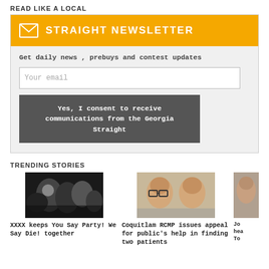READ LIKE A LOCAL
STRAIGHT NEWSLETTER
Get daily news , prebuys and contest updates
Your email
Yes, I consent to receive communications from the Georgia Straight
TRENDING STORIES
[Figure (photo): Group of people lying together on the floor, music/party themed photo]
XXXX keeps You Say Party! We Say Die! together
[Figure (photo): Two male mugshot photos side by side, one wearing glasses]
Coquitlam RCMP issues appeal for public's help in finding two patients
[Figure (photo): Partially visible third story card photo]
Jo... hea... To...